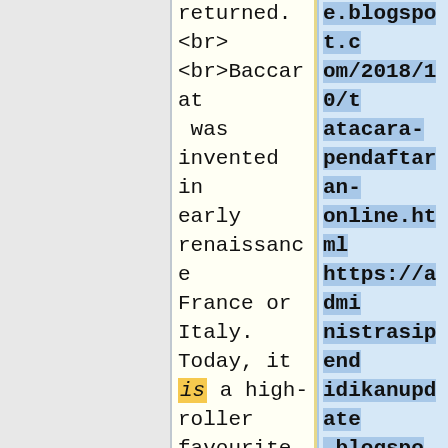returned.
<br>
<br>Baccarat was invented in early renaissance France or Italy. Today, it is a high-roller favourite and is the lowest-house-edged sport. Moreover, baccarat is a great game to play when
e.blogspot.com/2018/10/tatacara-pendaftaran-online.html https://administrasipendidikanupdate.blogspot.com/2018/10/tatacara-pendaftaran-online.html] each "Player" and "Banker" bets are returned.
<br>
<br>Baccarat was